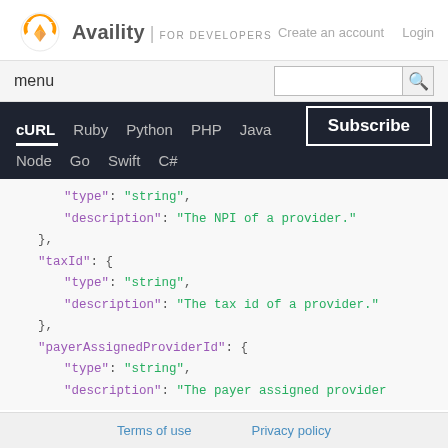Availity | FOR DEVELOPERS
Create an account  Login
menu
cURL  Ruby  Python  PHP  Java  Node  Go  Swift  C#  Subscribe
"type": "string",
"description": "The NPI of a provider."
},
"taxId": {
    "type": "string",
    "description": "The tax id of a provider."
},
"payerAssignedProviderId": {
    "type": "string",
    "description": "The payer assigned provider
Terms of use    Privacy policy